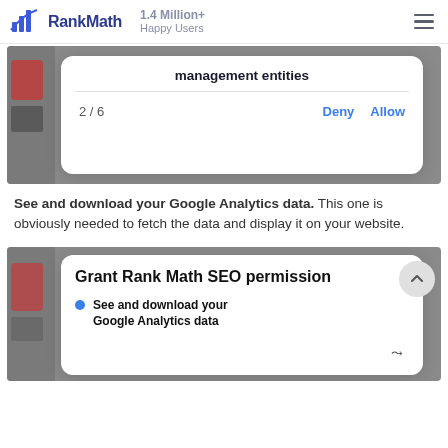RankMath 1.4 Million+ Happy Users
[Figure (screenshot): Dialog box showing 'management entities' text with '2 / 6' page indicator and 'Deny' and 'Allow' buttons]
See and download your Google Analytics data. This one is obviously needed to fetch the data and display it on your website.
[Figure (screenshot): Dialog card showing 'Grant Rank Math SEO permission' title with a list item starting with blue dot: 'See and download your Google Analytics data' with chevron and scroll-to-top button]